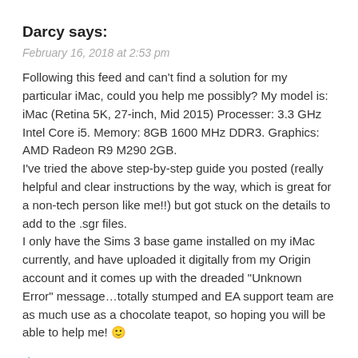Darcy says:
February 16, 2018 at 2:53 pm
Following this feed and can't find a solution for my particular iMac, could you help me possibly? My model is: iMac (Retina 5K, 27-inch, Mid 2015) Processer: 3.3 GHz Intel Core i5. Memory: 8GB 1600 MHz DDR3. Graphics: AMD Radeon R9 M290 2GB.
I've tried the above step-by-step guide you posted (really helpful and clear instructions by the way, which is great for a non-tech person like me!!) but got stuck on the details to add to the .sgr files.
I only have the Sims 3 base game installed on my iMac currently, and have uploaded it digitally from my Origin account and it comes up with the dreaded "Unknown Error" message…totally stumped and EA support team are as much use as a chocolate teapot, so hoping you will be able to help me! 🙂
★ Like
👍 0 👎 0 ℹ Rate This